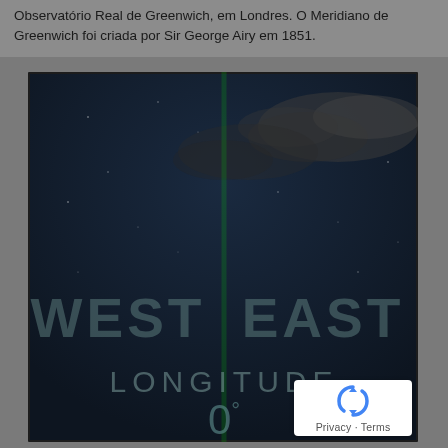Observatório Real de Greenwich, em Londres. O Meridiano de Greenwich foi criada por Sir George Airy em 1851.
[Figure (photo): Night sky photograph showing a green laser beam (the Prime Meridian laser at Greenwich) shooting vertically through a dark blue sky with clouds. The words WEST and EAST appear on either side of the beam, with LONGITUDE and 0° below.]